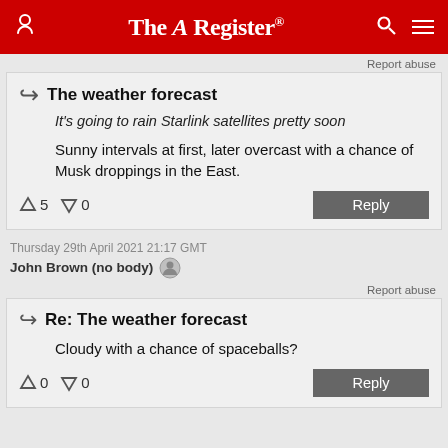The Register
Report abuse
The weather forecast
It's going to rain Starlink satellites pretty soon
Sunny intervals at first, later overcast with a chance of Musk droppings in the East.
↑5  ↓0   Reply
Thursday 29th April 2021 21:17 GMT
John Brown (no body)
Report abuse
Re: The weather forecast
Cloudy with a chance of spaceballs?
↑0  ↓0   Reply